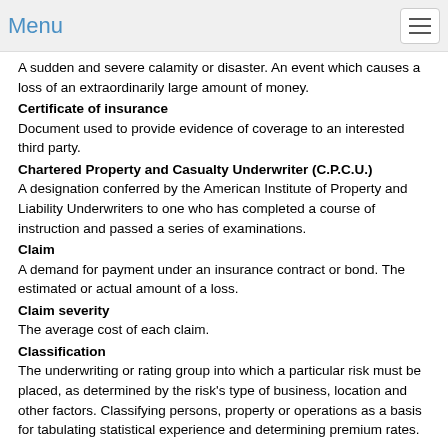Menu
A sudden and severe calamity or disaster. An event which causes a loss of an extraordinarily large amount of money.
Certificate of insurance
Document used to provide evidence of coverage to an interested third party.
Chartered Property and Casualty Underwriter (C.P.C.U.)
A designation conferred by the American Institute of Property and Liability Underwriters to one who has completed a course of instruction and passed a series of examinations.
Claim
A demand for payment under an insurance contract or bond. The estimated or actual amount of a loss.
Claim severity
The average cost of each claim.
Classification
The underwriting or rating group into which a particular risk must be placed, as determined by the risk's type of business, location and other factors. Classifying persons, property or operations as a basis for tabulating statistical experience and determining premium rates.